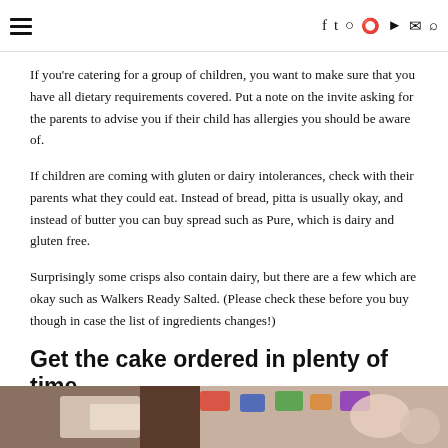≡  f  t  ☯  ✉  🔍
If you're catering for a group of children, you want to make sure that you have all dietary requirements covered. Put a note on the invite asking for the parents to advise you if their child has allergies you should be aware of.
If children are coming with gluten or dairy intolerances, check with their parents what they could eat. Instead of bread, pitta is usually okay, and instead of butter you can buy spread such as Pure, which is dairy and gluten free.
Surprisingly some crisps also contain dairy, but there are a few which are okay such as Walkers Ready Salted. (Please check these before you buy though in case the list of ingredients changes!)
Get the cake ordered in plenty of time
[Figure (photo): Photo of a birthday cake with letter decorations and hands reaching toward it]